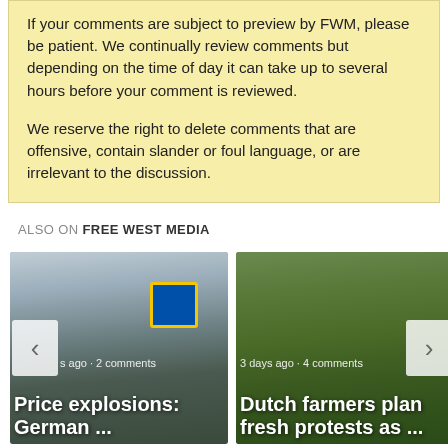If your comments are subject to preview by FWM, please be patient. We continually review comments but depending on the time of day it can take up to several hours before your comment is reviewed.
We reserve the right to delete comments that are offensive, contain slander or foul language, or are irrelevant to the discussion.
ALSO ON FREE WEST MEDIA
[Figure (photo): Photo of a parking lot with a Lidl store sign visible, overlaid with text 's ago • 2 comments' and title 'Price explosions: German ...']
[Figure (photo): Photo of Dutch farmers/workers carrying loads, overlaid with text '3 days ago • 4 comments' and title 'Dutch farmers plan fresh protests as ...']